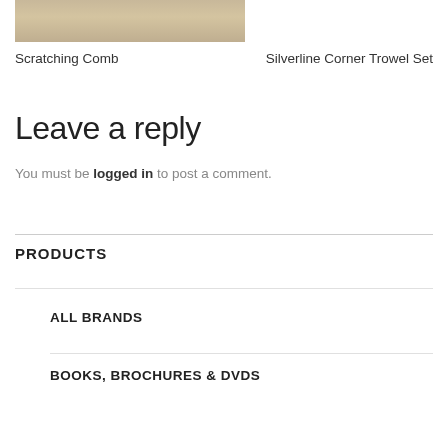[Figure (photo): Close-up photo of wooden tools or rods on a light surface, partially cropped at top of page]
Scratching Comb
Silverline Corner Trowel Set
Leave a reply
You must be logged in to post a comment.
PRODUCTS
ALL BRANDS
BOOKS, BROCHURES & DVDS